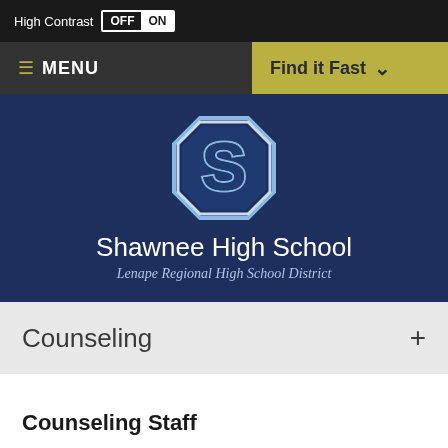High Contrast OFF ON
≡ MENU  Find it Fast ∨
[Figure (logo): Shawnee High School logo: block letter S in navy blue with light blue border on navy background]
Shawnee High School
Lenape Regional High School District
Counseling +
Counseling Staff